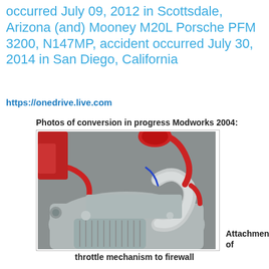occurred July 09, 2012 in Scottsdale, Arizona (and) Mooney M20L Porsche PFM 3200, N147MP, accident occurred July 30, 2014 in San Diego, California
https://onedrive.live.com
Photos of conversion in progress Modworks 2004:
[Figure (photo): Close-up photo of an aircraft engine conversion showing metallic engine components, curved aluminum piping, red hoses and fittings, and mechanical hardware — part of a Porsche PFM engine installation in a Mooney aircraft.]
Attachment of throttle mechanism to firewall